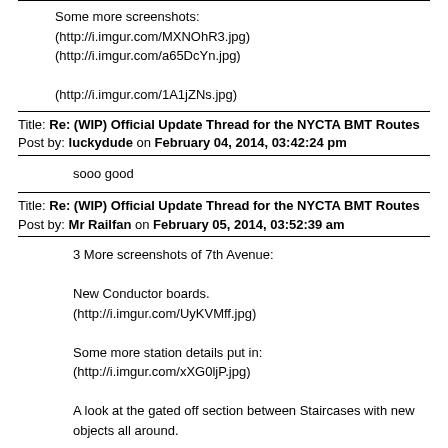Some more screenshots:
(http://i.imgur.com/MXNOhR3.jpg)
(http://i.imgur.com/a65DcYn.jpg)

(http://i.imgur.com/1A1jZNs.jpg)
Title: Re: (WIP) Official Update Thread for the NYCTA BMT Routes
Post by: luckydude on February 04, 2014, 03:42:24 pm
sooo good
Title: Re: (WIP) Official Update Thread for the NYCTA BMT Routes
Post by: Mr Railfan on February 05, 2014, 03:52:39 am
3 More screenshots of 7th Avenue:

New Conductor boards.
(http://i.imgur.com/UyKVMff.jpg)

Some more station details put in:
(http://i.imgur.com/xXG0ljP.jpg)

A look at the gated off section between Staircases with new objects all around.